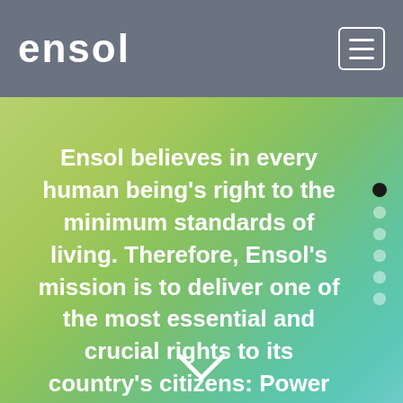Ensol
Ensol believes in every human being's right to the minimum standards of living. Therefore, Ensol's mission is to deliver one of the most essential and crucial rights to its country's citizens: Power Supply
[Figure (other): Scroll down chevron arrow icon at the bottom of the hero section]